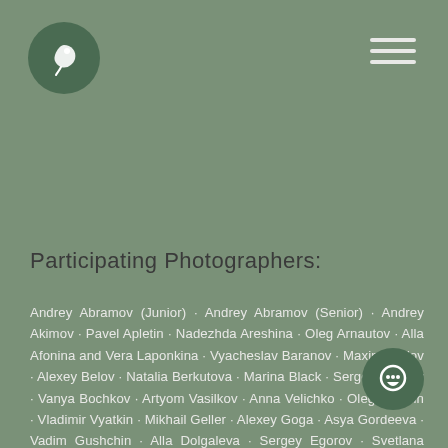[Figure (logo): Green circular logo with white leaf/dove icon]
[Figure (other): Hamburger menu icon (three horizontal lines) in top right]
Participating Photographers:
Andrey Abramov (Junior) · Andrey Abramov (Senior) · Andrey Akimov · Pavel Apletin · Nadezhda Areshina · Oleg Arnautov · Alla Afonina and Vera Laponkina · Vyacheslav Baranov · Maxim Bedov · Alexey Belov · Natalia Berkutova · Marina Black · Sergey Borisov · Vanya Bochkov · Artyom Vasilkov · Anna Velichko · Oleg Videnin · Vladimir Vyatkin · Mikhail Geller · Alexey Goga · Asya Gordeeva · Vadim Gushchin · Alla Dolgaleva · Sergey Egorov · Svetlana Zaitseva · Anastasia Zukina · Ilya Ivankin · Arturas Ionauskas · Nikita Ivantyev · Francisco Arana · Vyacheslav Kabanov · Ekaterina Kazantseva · Kalamkarov · Konstantin Kalugin · Lyudmila Ketslakh · Ekaterina
[Figure (other): Green circular chat/message button in bottom right corner]